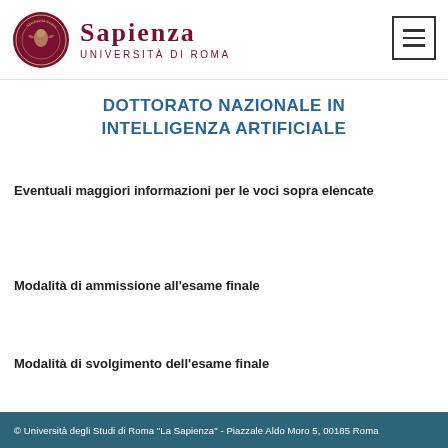[Figure (logo): Sapienza Università di Roma logo with circular seal and university name]
DOTTORATO NAZIONALE IN INTELLIGENZA ARTIFICIALE
Eventuali maggiori informazioni per le voci sopra elencate
Modalità di ammissione all'esame finale
Modalità di svolgimento dell'esame finale
© Università degli Studi di Roma "La Sapienza" - Piazzale Aldo Moro 5, 00185 Roma